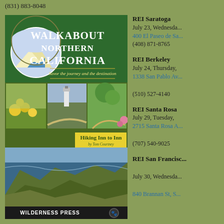(831) 883-8048
[Figure (photo): Book cover for 'Walkabout Northern California: Hiking Inn to Inn by Tom Courtney' published by Wilderness Press. Features green header with mountain/river logo, landscape photos of coastline and lighthouse, and coastal cliffs.]
REI Saratoga
July 23, Wednesday,
400 El Paseo de Sa...
(408) 871-8765
REI Berkeley
July 24, Thursday,
1338 San Pablo Av...
(510) 527-4140
REI Santa Rosa
July 29, Tuesday,
2715 Santa Rosa A...
(707) 540-9025
REI San Francisco
July 30, Wednesday,
840 Brannan St, S...